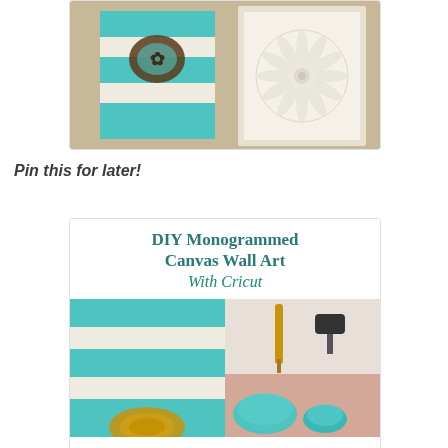[Figure (photo): Photo of DIY canvas wall art with teal and white stripes with a dark floral monogram, displayed on a tan wall next to a white framed paper flower artwork]
Pin this for later!
[Figure (infographic): Pinterest-style pin graphic with title 'DIY Monogrammed Canvas Wall Art With Cricut' in teal serif font, with collage of project photos below showing teal striped canvas and craft supplies]